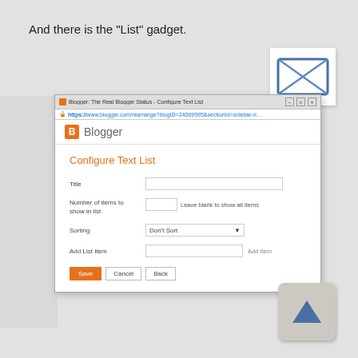And there is the "List" gadget.
[Figure (screenshot): Blogger Configure Text List dialog showing Title field, Number of items to show in list field with 'Leave blank to show all items' hint, Sorting dropdown with 'Don't Sort' selected, Add List Item field with Add Item button, and Save/Cancel/Back buttons. Browser address bar shows https://www.blogger.com/rearrange?blogID=24069595&sectionId=sidebar-ri...]
[Figure (illustration): Email envelope icon with X pattern, white background]
[Figure (illustration): Up arrow icon on grey rounded square background]